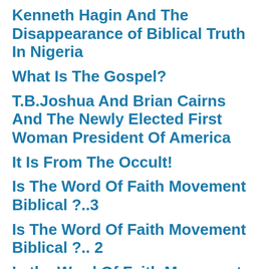Kenneth Hagin And The Disappearance of Biblical Truth In Nigeria
What Is The Gospel?
T.B.Joshua And Brian Cairns And The Newly Elected First Woman President Of America
It Is From The Occult!
Is The Word Of Faith Movement Biblical ?..3
Is The Word Of Faith Movement Biblical ?.. 2
Is the Word Of Faith Movement